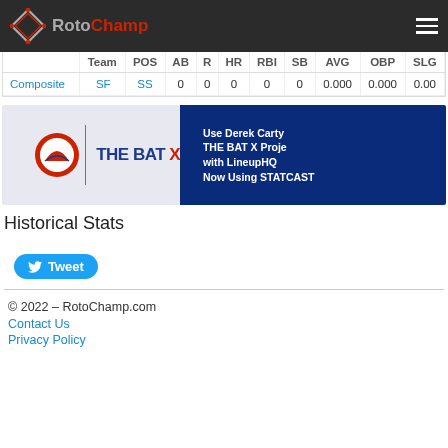RotoChamp
|  | Team | POS | AB | R | HR | RBI | SB | AVG | OBP | SLG |
| --- | --- | --- | --- | --- | --- | --- | --- | --- | --- | --- |
| Composite | SF | SS | 0 | 0 | 0 | 0 | 0 | 0.000 | 0.000 | 0.00 |
[Figure (advertisement): THE BAT X advertisement banner with logo and text: Use Derek Carty's THE BAT X Projections with LineupHQ Now Using STATCAST]
Historical Stats
Tweet
© 2022 – RotoChamp.com
Contact Us
Privacy Policy